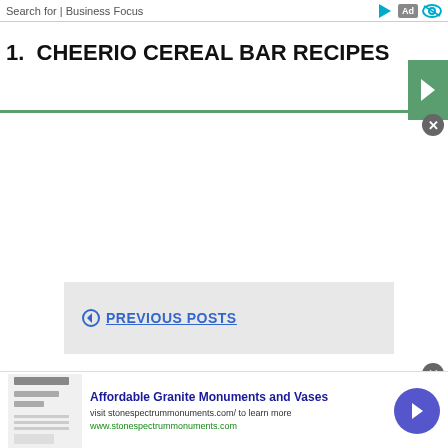Search for | Business Focus
1. CHEERIO CEREAL BAR RECIPES
PREVIOUS POSTS
[Figure (screenshot): Thumbnail of a browser page showing 'Your Browser is No Longer Supported']
Affordable Granite Monuments and Vases
visit stonespectrummonuments.com/ to learn more
www.stonespectrummonuments.com